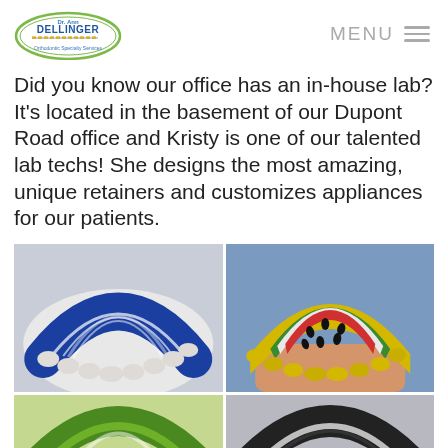[Figure (logo): Dr. Ann Dellinger Orthodontics Specialty Services logo — oval shape with green border, braces icons, yellow/green text]
Did you know our office has an in-house lab? It's located in the basement of our Dupont Road office and Kristy is one of our talented lab techs! She designs the most amazing, unique retainers and customizes appliances for our patients.
[Figure (photo): Blue and white swirled custom dental retainer shown from above on a white background]
[Figure (photo): Watermelon-themed custom dental retainer held in a hand — red, green, white with black seed dots, yellow bumps for teeth]
[Figure (photo): Partial view of a green and yellow custom dental retainer, bottom of image cropped]
[Figure (photo): Partial view of a black and white custom dental retainer, bottom of image cropped]